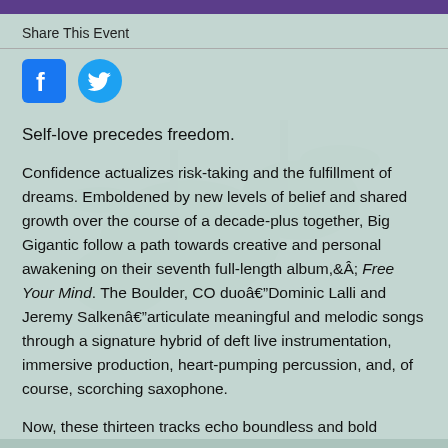Share This Event
[Figure (logo): Facebook logo icon (blue square with white 'f') and Twitter logo icon (blue circle with white bird)]
Self-love precedes freedom.
Confidence actualizes risk-taking and the fulfillment of dreams. Emboldened by new levels of belief and shared growth over the course of a decade-plus together, Big Gigantic follow a path towards creative and personal awakening on their seventh full-length album,Â Free Your Mind. The Boulder, CO duoâ€”Dominic Lalli and Jeremy Salkenâ€”articulate meaningful and melodic songs through a signature hybrid of deft live instrumentation, immersive production, heart-pumping percussion, and, of course, scorching saxophone.
Now, these thirteen tracks echo boundless and bold